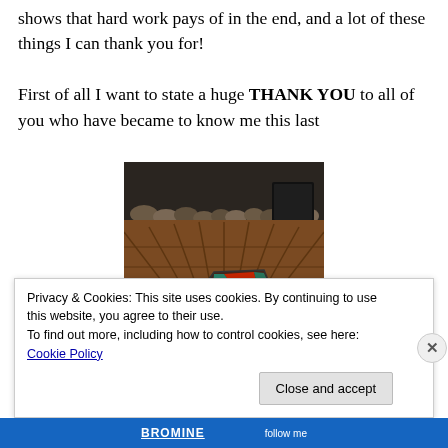shows that hard work pays of in the end, and a lot of these things I can thank you for!

First of all I want to state a huge THANK YOU to all of you who have became to know me this last
[Figure (photo): Photo of a wooden deck with a colorful stained glass lantern (red and teal panels) in the foreground, and decorative stones along the back wall.]
Privacy & Cookies: This site uses cookies. By continuing to use this website, you agree to their use.
To find out more, including how to control cookies, see here: Cookie Policy
Close and accept